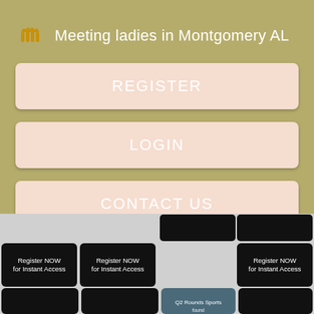[Figure (screenshot): App logo icon - crown/teeth icon in golden/brown color]
Meeting ladies in Montgomery AL
REGISTER
LOGIN
CONTACT US
[Figure (screenshot): Grid of dark thumbnail images with 'Register NOW for Instant Access' text overlaid on some tiles, and a partial image visible, on a light gray background]